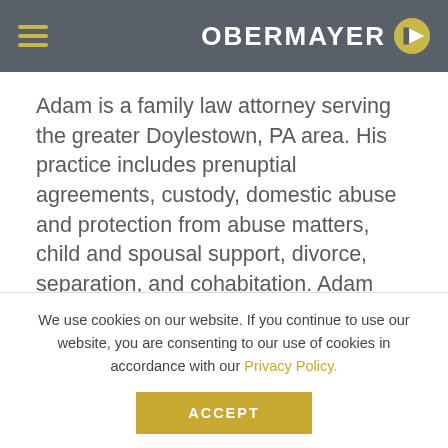OBERMAYER
Adam is a family law attorney serving the greater Doylestown, PA area. His practice includes prenuptial agreements, custody, domestic abuse and protection from abuse matters, child and spousal support, divorce, separation, and cohabitation. Adam has litigated many complex cases involving business assets and trusts, and he has extensive experience taking custody cases to trial. Although Adam realizes that the settlement
We use cookies on our website. If you continue to use our website, you are consenting to our use of cookies in accordance with our Privacy Policy.
ACCEPT